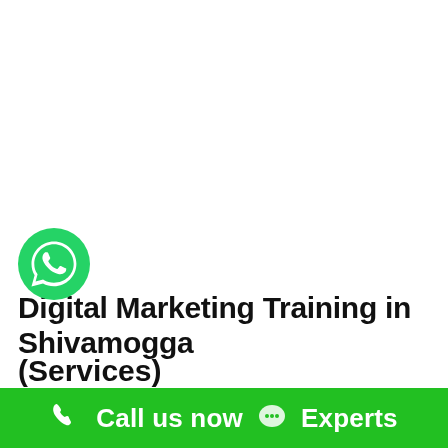[Figure (logo): WhatsApp green circle button with white WhatsApp phone/chat icon]
Digital Marketing Training in Shivamogga
(Services)
Call us now  Experts